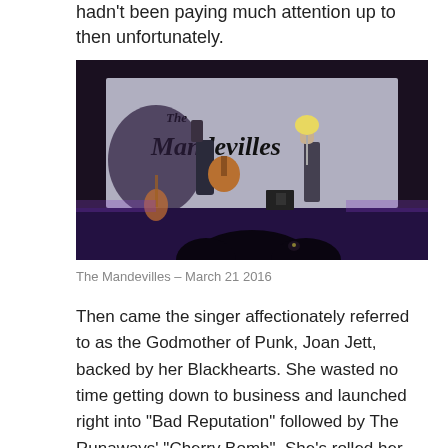hadn't been paying much attention up to then unfortunately.
[Figure (photo): Two performers on stage in front of a large backdrop reading 'The Mandevilles'. A guitarist in dark clothing plays an acoustic guitar on the left, and a female singer with light hair performs on the right. Audience silhouettes visible in the foreground.]
The Mandevilles – March 21 2016
Then came the singer affectionately referred to as the Godmother of Punk, Joan Jett, backed by her Blackhearts. She wasted no time getting down to business and launched right into "Bad Reputation" followed by The Runaways' "Cherry Bomb". She's rolled her rock for a long time now, and